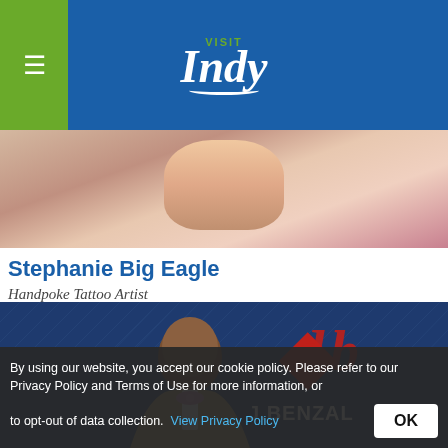VISIT Indy
[Figure (photo): Photo of Stephanie Big Eagle, a woman with tattoos wearing a colorful athletic top]
Stephanie Big Eagle
Handpoke Tattoo Artist
[Figure (photo): Photo of a man in a tan blazer with pink bowtie in front of a J.BENZAL branded blue background]
By using our website, you accept our cookie policy. Please refer to our Privacy Policy and Terms of Use for more information, or to opt-out of data collection. View Privacy Policy OK